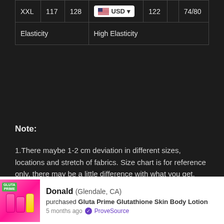| XXL | 117 | 128 | 110 | 122 | 74/80 |
| Elasticity |  |  | High Elasticity |  |  |
Note:
1.There maybe 1-2 cm deviation in different sizes, locations and stretch of fabrics. Size chart is for reference only, there may be a little difference with what you get.
2.There are 3 kinds of elasticity: High Elasticity (two-sided stretched), Medium Elasticity (one-sided stretched) and Non-elastic (cannot stretched).
3.Color may be lighter or darker due to the different PC display.
Donald (Glendale, CA) purchased Gluta Prime Glutathione Skin Body Lotion 5 months ago ✓ ProveSource